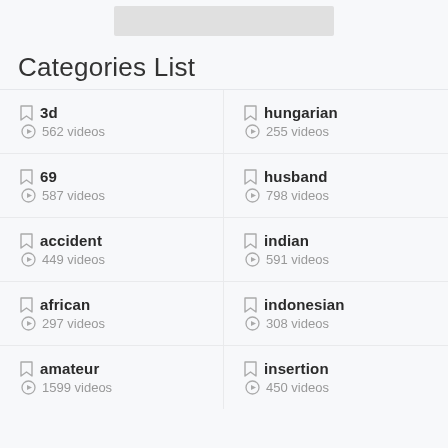[Figure (other): Gray banner image at top of page]
Categories List
3d — 562 videos
hungarian — 255 videos
69 — 587 videos
husband — 798 videos
accident — 449 videos
indian — 591 videos
african — 297 videos
indonesian — 308 videos
amateur — 1599 videos
insertion — 450 videos